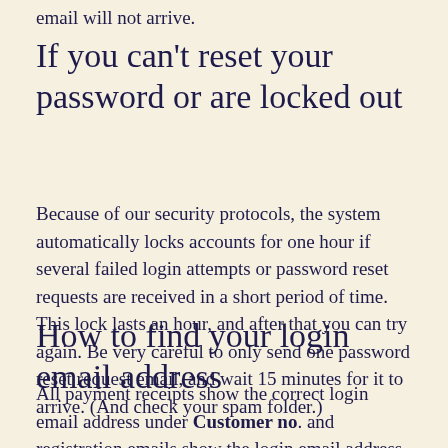email will not arrive.
If you can't reset your password or are locked out
Because of our security protocols, the system automatically locks accounts for one hour if several failed login attempts or password reset requests are received in a short period of time. This lock lasts an hour, and after that you can try again. Be very careful to only send one password reset request email, and wait 15 minutes for it to arrive. (And check your spam folder.)
How to find your login email address
All payment receipts show the correct login email address under Customer no. and registration emails show the login email address as well. All notification emails you receive also show the login email address under email